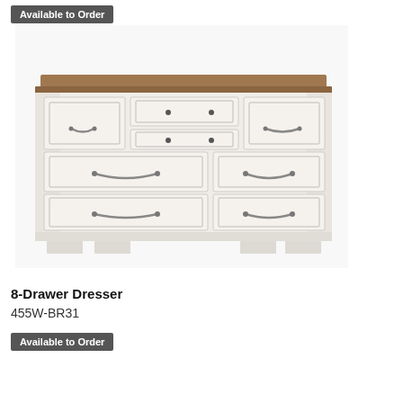[Figure (photo): White 8-drawer dresser with a brown wood top, paneled drawer fronts, and antique-style silver bail pull handles. The piece sits on bracket feet and has a traditional cottage style.]
8-Drawer Dresser
455W-BR31
Available to Order
Available to Order